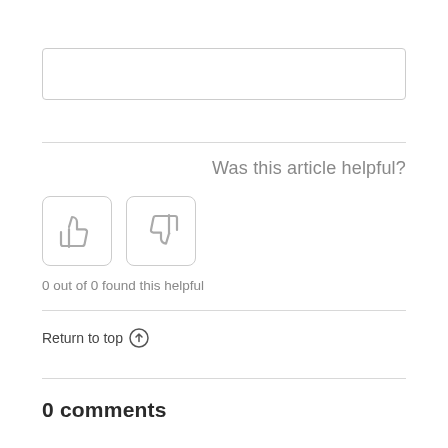[Figure (screenshot): Empty text input box with light gray border]
Was this article helpful?
[Figure (other): Thumbs up button (square with rounded corners, light gray border) and thumbs down button (square with rounded corners, light gray border)]
0 out of 0 found this helpful
Return to top ↑
0 comments